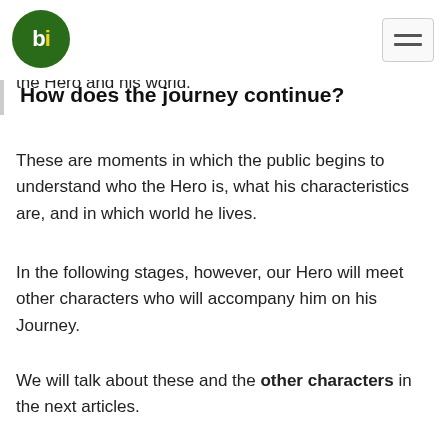bi (logo)
How does the journey continue?
The first three phases belong almost exclusively to the Hero and his world.
These are moments in which the public begins to understand who the Hero is, what his characteristics are, and in which world he lives.
In the following stages, however, our Hero will meet other characters who will accompany him on his Journey.
We will talk about these and the other characters in the next articles.